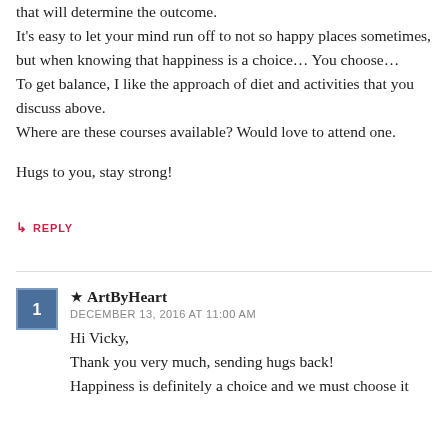that will determine the outcome.
It's easy to let your mind run off to not so happy places sometimes, but when knowing that happiness is a choice… You choose…
To get balance, I like the approach of diet and activities that you discuss above.
Where are these courses available? Would love to attend one.

Hugs to you, stay strong!
↳ REPLY
★ ArtByHeart
DECEMBER 13, 2016 AT 11:00 AM
Hi Vicky,
Thank you very much, sending hugs back!
Happiness is definitely a choice and we must choose it